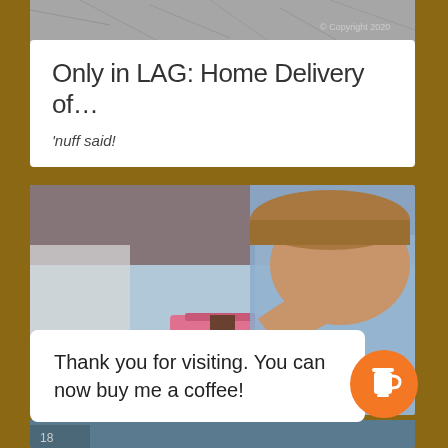[Figure (photo): Partial top strip of a photo showing cracked stone/pavement texture in black and white]
Only in LAG: Home Delivery of…
'nuff said!
[Figure (photo): Man in a blue/grey t-shirt leaning down smiling, with a pink cooler and teal stool in the background at an outdoor street scene]
Thank you for visiting. You can now buy me a coffee!
[Figure (illustration): Orange circular button with a white coffee cup icon]